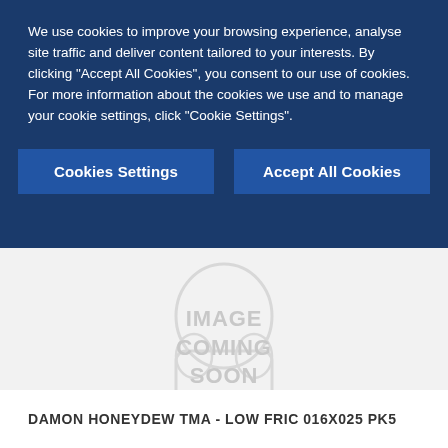We use cookies to improve your browsing experience, analyse site traffic and deliver content tailored to your interests. By clicking "Accept All Cookies", you consent to our use of cookies. For more information about the cookies we use and to manage your cookie settings, click "Cookie Settings".
Cookies Settings
Accept All Cookies
[Figure (other): Image coming soon placeholder graphic with outline of a product shape]
DAMON HONEYDEW TMA - LOW FRIC 016X025 PK5